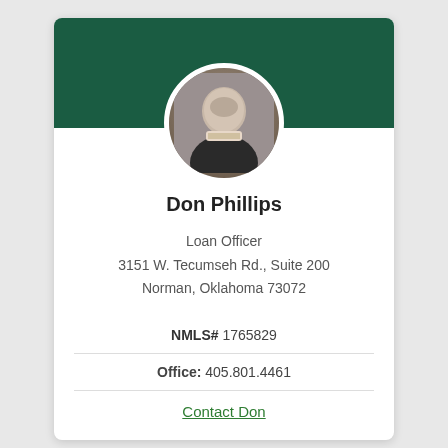[Figure (photo): Circular headshot photo of Don Phillips, a middle-aged man in a dark suit with a light tie, smiling, against a gray background.]
Don Phillips
Loan Officer
3151 W. Tecumseh Rd., Suite 200
Norman, Oklahoma 73072
NMLS# 1765829
Office: 405.801.4461
Contact Don